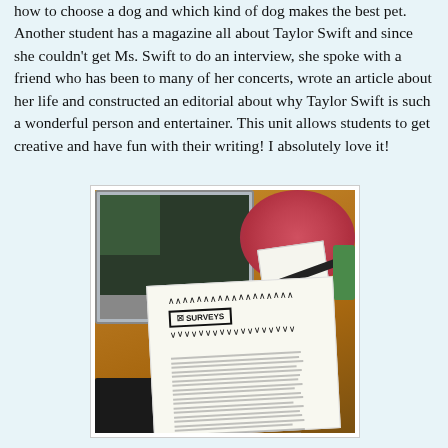how to choose a dog and which kind of dog makes the best pet. Another student has a magazine all about Taylor Swift and since she couldn't get Ms. Swift to do an interview, she spoke with a friend who has been to many of her concerts, wrote an article about her life and constructed an editorial about why Taylor Swift is such a wonderful person and entertainer. This unit allows students to get creative and have fun with their writing! I absolutely love it!
[Figure (photo): A photo of a school desk with an HP laptop open, a pink circular placemat, a small receipt/paper, a black pen, and an open white magazine/paper showing a jagged speech-bubble title and printed text columns.]